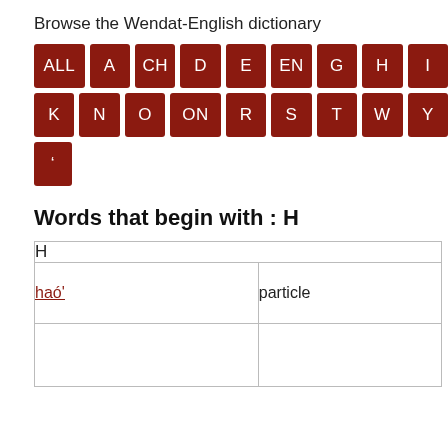Browse the Wendat-English dictionary
[Figure (other): Grid of dark red letter tiles showing: Row 1: ALL, A, CH, D, E, EN, G, H, I. Row 2: K, N, O, ON, R, S, T, W, Y. Row 3: ']
Words that begin with : H
| H |  |
| --- | --- |
| haó' | particle |
|  |  |